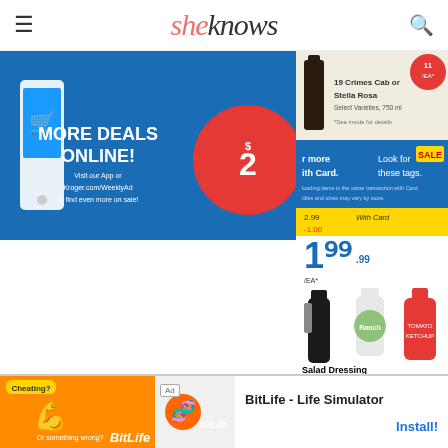sheknows
[Figure (advertisement): Kroger MORE DEALS ONLINE ad with phone graphic and red price badge showing $2x]
[Figure (advertisement): 19 Crimes Cab or Stella Rosa wine ad]
[Figure (advertisement): Kroger Card SALE banner]
[Figure (advertisement): Salad Dressing ad: $2.99 with Card -1.00 = $1.99/EA. Sweet Baby Ray's Barbecue Sauce, Wing Sauce or Marinade, 12-18 fl oz, Ketchup, 20 oz. Select Varieties]
[Figure (advertisement): Tide Liquid Laundry Detergent 6.99 -1.00 = $5.99/EA. 46 fl oz or Tide Pods, 16-20 ct or Lysol Disinfectant Spray, 12.5 oz. Select Varieties]
[Figure (advertisement): Offer Valid 8/26/22-8/28/22 Limited Time offer. Restrictions apply, see coupon for details. QR code shown. Store names: Kam Co., Texas Valley Ripley, and Oak]
[Figure (advertisement): BitLife - Life Simulator app advertisement banner with Install button]